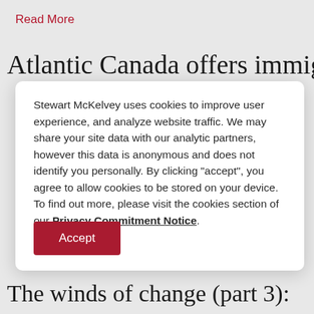Read More
Atlantic Canada offers immigration
Stewart McKelvey uses cookies to improve user experience, and analyze website traffic. We may share your site data with our analytic partners, however this data is anonymous and does not identify you personally. By clicking "accept", you agree to allow cookies to be stored on your device. To find out more, please visit the cookies section of our Privacy Commitment Notice.
Accept
The winds of change (part 3):